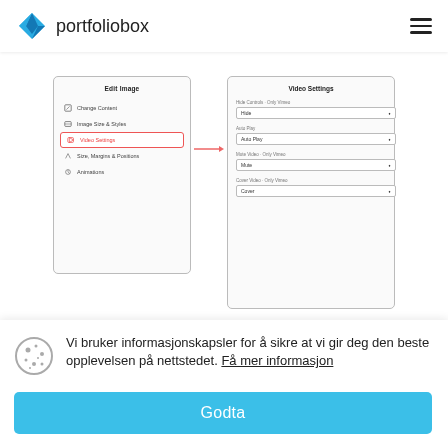[Figure (logo): Portfoliobox logo with blue diamond shape icon and text 'portfoliobox']
[Figure (screenshot): Screenshot showing Edit Image panel with Video Settings option highlighted in red, and a Video Settings panel on the right with dropdowns for Hide Controls, Auto Play, Mute Video, and Cover Video options]
Vi bruker informasjonskapsler for å sikre at vi gir deg den beste opplevelsen på nettstedet. Få mer informasjon
Godta